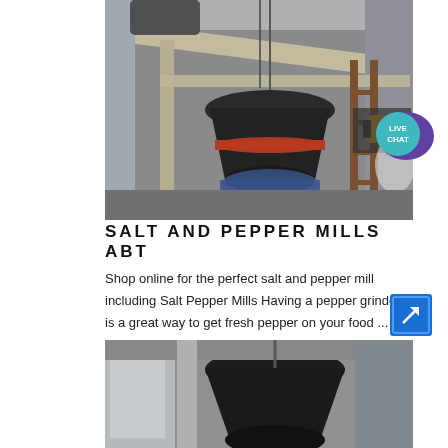[Figure (photo): Industrial mill machinery viewed from above, showing large cone-shaped grinder, metal framework, pipes and yellow motor unit]
[Figure (infographic): Live Chat badge - teal circle with speech bubble icon and text LIVE CHAT]
SALT AND PEPPER MILLS ABT
Shop online for the perfect salt and pepper mill including Salt Pepper Mills Having a pepper grinder is a great way to get fresh pepper on your food ...
[Figure (infographic): Blue square arrow/link button icon]
[Figure (photo): Close-up of industrial mill machinery, dark cone-shaped grinder in industrial facility]